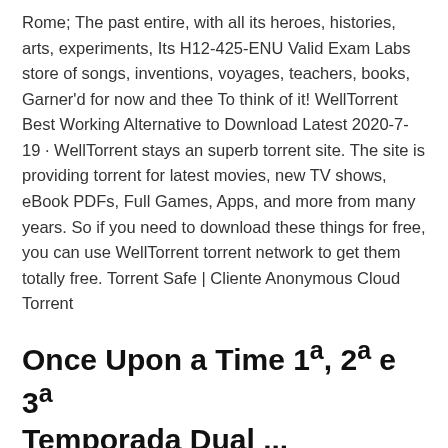Rome; The past entire, with all its heroes, histories, arts, experiments, Its H12-425-ENU Valid Exam Labs store of songs, inventions, voyages, teachers, books, Garner'd for now and thee To think of it! WellTorrent Best Working Alternative to Download Latest 2020-7-19 · WellTorrent stays an superb torrent site. The site is providing torrent for latest movies, new TV shows, eBook PDFs, Full Games, Apps, and more from many years. So if you need to download these things for free, you can use WellTorrent torrent network to get them totally free. Torrent Safe | Cliente Anonymous Cloud Torrent
Once Upon a Time 1ª, 2ª e 3ª Temporada Dual ...
One Day at a Time (Um Dia De Cada Vez) Na nova versão do clássico da TV sobre uma família de imigrantes cubanos, a mãe recém-divorciada e a avó careta criam Amazon.com: Watch A Simple Favor | Prime Video The performances by